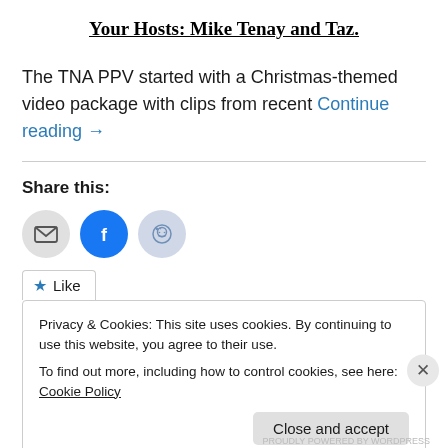Your Hosts: Mike Tenay and Taz.
The TNA PPV started with a Christmas-themed video package with clips from recent Continue reading →
Share this:
[Figure (infographic): Three social share icon buttons: email (grey circle), Facebook (blue circle with f logo), Reddit (light blue circle with alien logo)]
★ Like
Privacy & Cookies: This site uses cookies. By continuing to use this website, you agree to their use. To find out more, including how to control cookies, see here: Cookie Policy
Close and accept